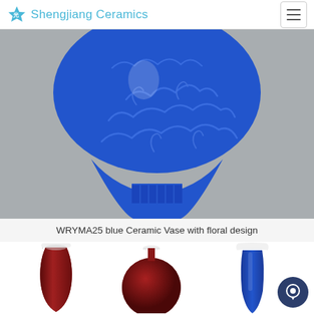Shengjiang Ceramics
[Figure (photo): Close-up photo of a large blue ceramic vase with embossed floral and cloud scroll design, deep cobalt blue glaze, meiping shape with narrow neck and flared base band]
WRYMA25 blue Ceramic Vase with floral design
[Figure (photo): Three small ceramic vases in a row: left is a tall slender red/oxblood vase, center is a small round dark red vase, right is a tall blue vase with flared top]